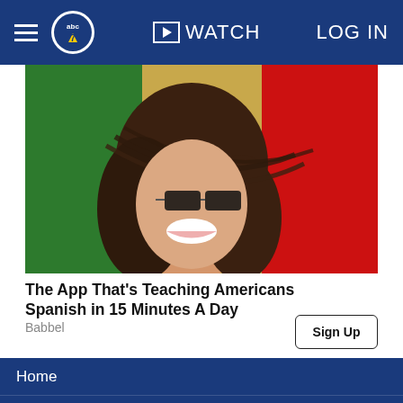abc7 | WATCH | LOG IN
[Figure (photo): Smiling woman with dark hair blowing over her face, overlaid with Mexican flag background (green, eagle emblem, red sections)]
The App That's Teaching Americans Spanish in 15 Minutes A Day
Babbel
Sign Up
Home
AccuWeather
Traffic
Local News
Categories